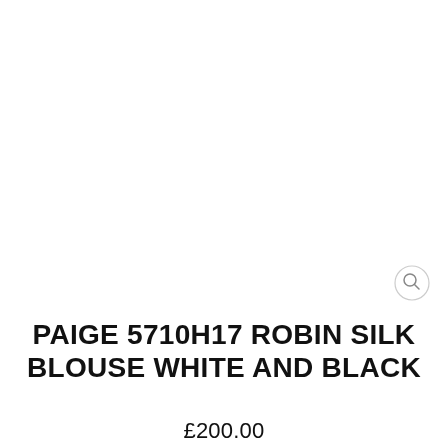[Figure (photo): White product image area — blank white background where a product photo would appear]
PAIGE 5710H17 ROBIN SILK BLOUSE WHITE AND BLACK
£200.00